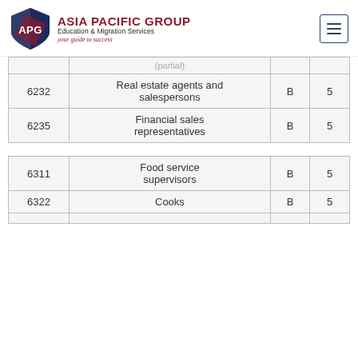[Figure (logo): Asia Pacific Group APG Education & Migration Services logo with shield icon and tagline 'your guide to success']
| …(partial)… |  |  |  |
| 6232 | Real estate agents and salespersons | B | 5 |
| 6235 | Financial sales representatives | B | 5 |
| 6311 | Food service supervisors | B | 5 |
| 6322 | Cooks | B | 5 |
| … | … |  |  |